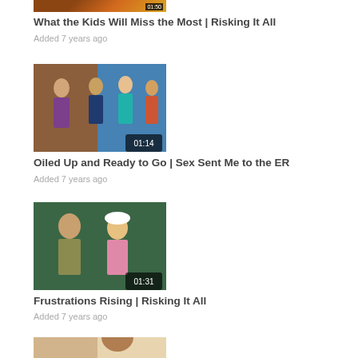[Figure (screenshot): Video thumbnail with duration 01:50, partially visible at top]
What the Kids Will Miss the Most | Risking It All
Added 7 years ago
[Figure (screenshot): Video thumbnail showing group of people, duration 01:14]
Oiled Up and Ready to Go | Sex Sent Me to the ER
Added 7 years ago
[Figure (screenshot): Video thumbnail showing two people outdoors, duration 01:31]
Frustrations Rising | Risking It All
Added 7 years ago
[Figure (screenshot): Video thumbnail partially visible at bottom showing person and child photo]